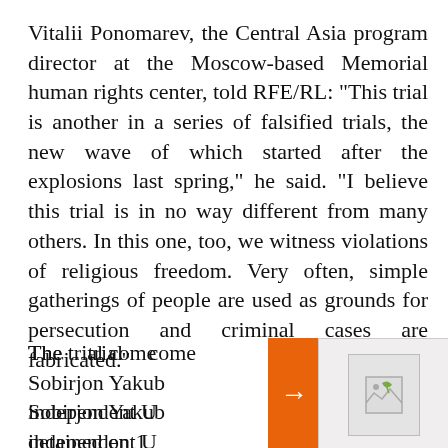Vitalii Ponomarev, the Central Asia program director at the Moscow-based Memorial human rights center, told RFE/RL: "This trial is another in a series of falsified trials, the new wave of which started after the explosions last spring," he said. "I believe this trial is in no way different from many others. In this one, too, we witness violations of religious freedom. Very often, simple gatherings of people are used as grounds for persecution and criminal cases are fabricated."
The trial comes amid reports of the arrest of Sobirjon Yakubov, an independent U... detained on 11... official Alisher... Yakubov had b...
[Figure (screenshot): Orange arrow bar overlay with right-pointing arrow, partially covering text, with a popup card showing a broken image placeholder and article title 'It's Not Scary To Die For The Motherland': As War On Ukraine Rages, Russian Children Targeted For 'Patriotic' Education]